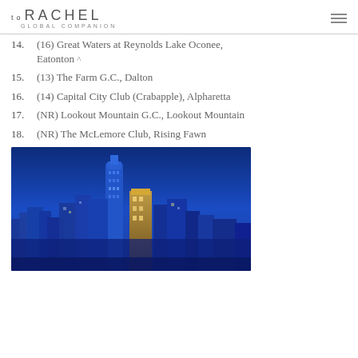to RACHEL GLOBAL COMPANION
14. (16) Great Waters at Reynolds Lake Oconee, Eatonton ^
15. (13) The Farm G.C., Dalton
16. (14) Capital City Club (Crabapple), Alpharetta
17. (NR) Lookout Mountain G.C., Lookout Mountain
18. (NR) The McLemore Club, Rising Fawn
[Figure (photo): Atlanta city skyline at night/dusk with illuminated skyscrapers against a deep blue sky]